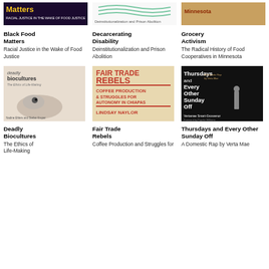[Figure (illustration): Book cover of Black Food Matters - dark background with yellow text]
Black Food Matters
Racial Justice in the Wake of Food Justice
[Figure (illustration): Book cover of Decarcerating Disability - white with green wave lines]
Decarcerating Disability
Deinstitutionalization and Prison Abolition
[Figure (illustration): Book cover of Grocery Activism - brown/tan color]
Grocery Activism
The Radical History of Food Cooperatives in Minnesota
[Figure (illustration): Book cover of Deadly Biocultures - grey/beige with eye imagery]
Deadly Biocultures
The Ethics of Life-Making
[Figure (illustration): Book cover of Fair Trade Rebels - beige with red/orange text]
Fair Trade Rebels
Coffee Production and Struggles for Autonomy in Chiapas
[Figure (illustration): Book cover of Thursdays and Every Other Sunday Off - black with white text and figure]
Thursdays and Every Other Sunday Off
A Domestic Rap by Verta Mae